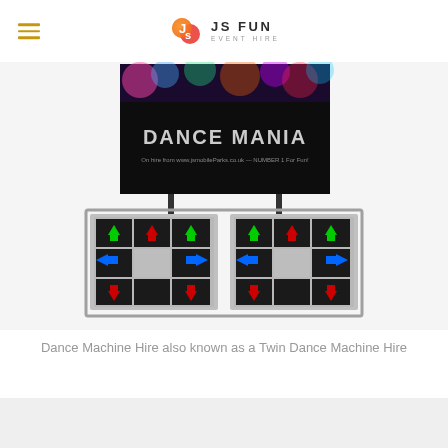JS FUN EVENT HIRE
[Figure (photo): Dance Mania twin dance machine with two side-by-side dance pads featuring colored arrow buttons (green, red, blue) and a branded 'Dance Mania' banner backdrop behind it.]
Dance Machine Hire also known as a Twin Dance Machine Hire